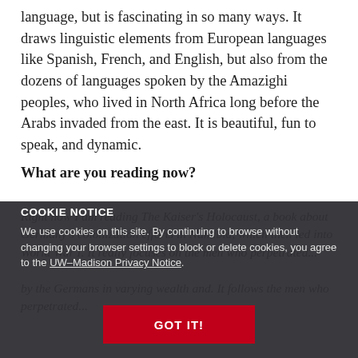language, but is fascinating in so many ways. It draws linguistic elements from European languages like Spanish, French, and English, but also from the dozens of languages spoken by the Amazighi peoples, who lived in North Africa long before the Arabs invaded from the east. It is beautiful, fun to speak, and dynamic.
What are you reading now?
Right now I am reading The Kaiser's Holocaust, a book about Germany's colonization efforts in Namibia, which then led into World War I. It really focuses on the men who perpetrated...
COOKIE NOTICE
We use cookies on this site. By continuing to browse without changing your browser settings to block or delete cookies, you agree to the UW–Madison Privacy Notice.